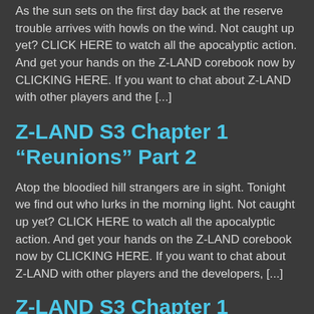As the sun sets on the first day back at the reserve trouble arrives with howls on the wind. Not caught up yet? CLICK HERE to watch all the apocalyptic action. And get your hands on the Z-LAND corebook now by CLICKING HERE. If you want to chat about Z-LAND with other players and the [...]
Z-LAND S3 Chapter 1 “reunions” Part 2
Atop the bloodied hill strangers are in sight. Tonight we find out who lurks in the morning light. Not caught up yet? CLICK HERE to watch all the apocalyptic action. And get your hands on the Z-LAND corebook now by CLICKING HERE. If you want to chat about Z-LAND with other players and the developers, [...]
Z-LAND S3 Chapter 1 “Reunions” Part 1